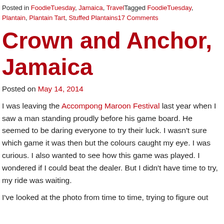Posted in FoodieTuesday, Jamaica, TravelTagged FoodieTuesday, Plantain, Plantain Tart, Stuffed Plantains17 Comments
Crown and Anchor, Jamaica
Posted on May 14, 2014
I was leaving the Accompong Maroon Festival last year when I saw a man standing proudly before his game board. He seemed to be daring everyone to try their luck. I wasn't sure which game it was then but the colours caught my eye. I was curious. I also wanted to see how this game was played. I wondered if I could beat the dealer. But I didn't have time to try, my ride was waiting.
I've looked at the photo from time to time, trying to figure out